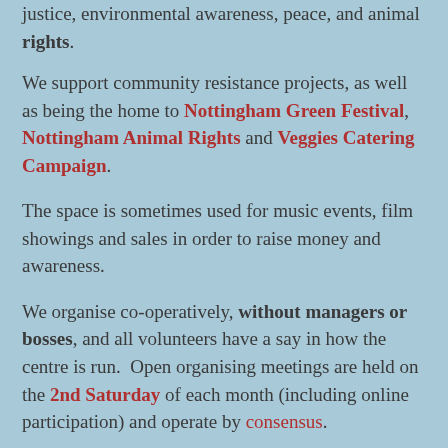justice, environmental awareness, peace, and animal rights.
We support community resistance projects, as well as being the home to Nottingham Green Festival, Nottingham Animal Rights and Veggies Catering Campaign.
The space is sometimes used for music events, film showings and sales in order to raise money and awareness.
We organise co-operatively, without managers or bosses, and all volunteers have a say in how the centre is run.  Open organising meetings are held on the 2nd Saturday of each month (including online participation) and operate by consensus.
Our aim is to provide a safer space for local people to meet other socially conscious individuals in a relaxed